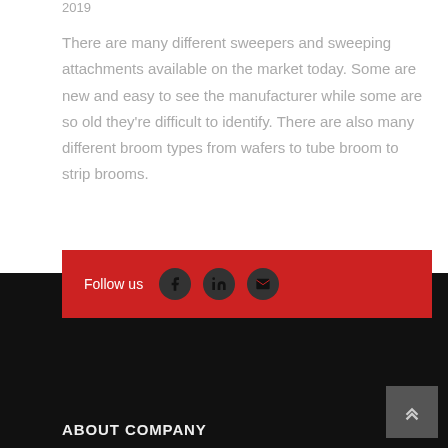2019
There are many different sweepers and sweeping attachments available on the market today. Some are new and easy to see the manufacturer while some are so old they're difficult to identify. There are also many different broom types from wafers to tube broom to strip brooms.
CONTINUE READING →
Follow us  ABOUT COMPANY